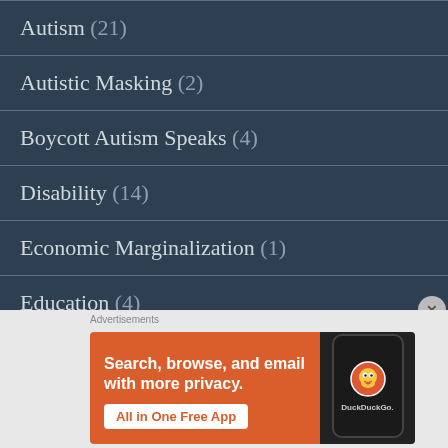Autism (21)
Autistic Masking (2)
Boycott Autism Speaks (4)
Disability (14)
Economic Marginalization (1)
Education (4)
[Figure (screenshot): DuckDuckGo advertisement banner: orange background with text 'Search, browse, and email with more privacy. All in One Free App' and a phone showing the DuckDuckGo logo.]